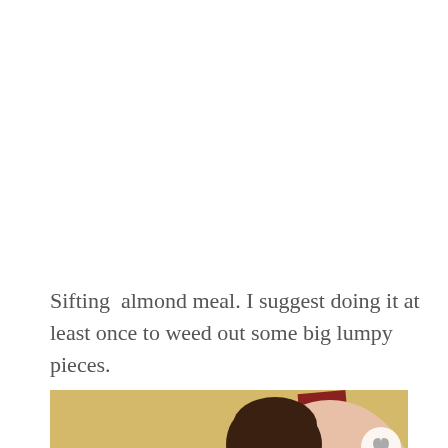Sifting  almond meal. I suggest doing it at least once to weed out some big lumpy pieces.
[Figure (photo): A woman leaning over a stovetop with cooking pots and kitchen appliances, sifting or inspecting something in a small pan. Kitchen items include a green kettle, teal dutch oven, stand mixer, and various pots. Overlay elements include a heart/like button, the number 1, a share button, and a 'What's Next → Blueberry Cream Pie' panel in the bottom right corner.]